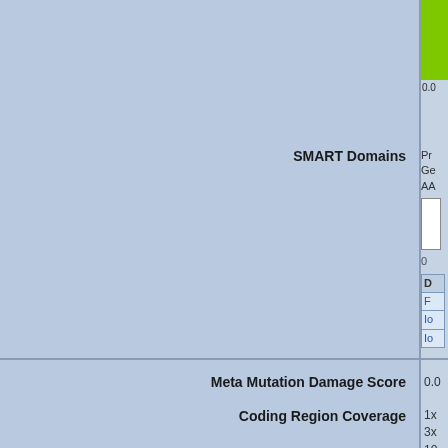[Figure (other): Green bar chart fragment visible at top-right corner, with score text '0.0' below]
|  |  |
| --- | --- |
| SMART Domains | Pr
Ge
AA
[domain box]
[D header]
F
Io
Io |
| Meta Mutation Damage Score | 0.0 |
| Coding Region Coverage | 1x
3x
10
20 |